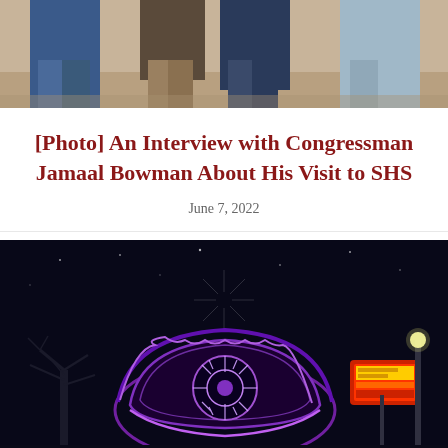[Figure (photo): Top portion of a photo showing people standing indoors, partial view from waist down]
[Photo] An Interview with Congressman Jamaal Bowman About His Visit to SHS
June 7, 2022
[Figure (photo): Night photo of an illuminated carnival/fair ride glowing in purple and blue lights against a dark sky, with bare trees and a colorful sign visible in the background]